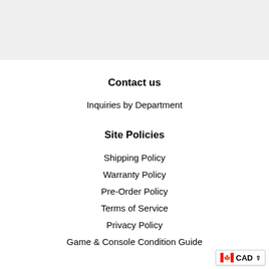[Figure (other): Gray banner bar at top of page]
Contact us
Inquiries by Department
Site Policies
Shipping Policy
Warranty Policy
Pre-Order Policy
Terms of Service
Privacy Policy
Game & Console Condition Guide